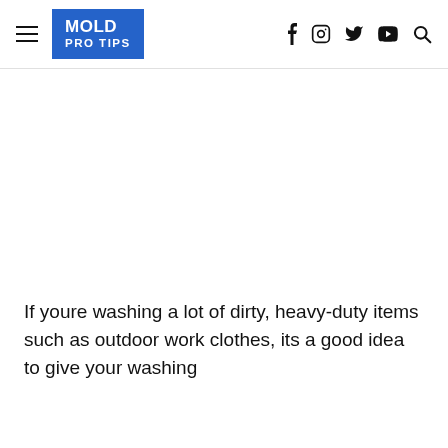MOLD PRO TIPS
If youre washing a lot of dirty, heavy-duty items such as outdoor work clothes, its a good idea to give your washing